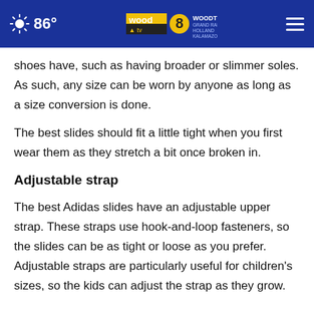86° WOODTV.COM GRAND RAPIDS HOLLAND KALAMAZOO wood 8 tv
shoes have, such as having broader or slimmer soles. As such, any size can be worn by anyone as long as a size conversion is done.
The best slides should fit a little tight when you first wear them as they stretch a bit once broken in.
Adjustable strap
The best Adidas slides have an adjustable upper strap. These straps use hook-and-loop fasteners, so the slides can be as tight or loose as you prefer. Adjustable straps are particularly useful for children's sizes, so the kids can adjust the strap as they grow.